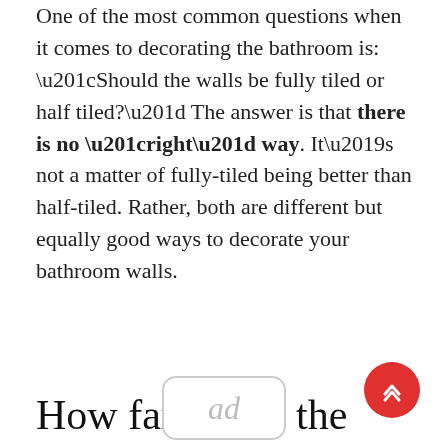One of the most common questions when it comes to decorating the bathroom is: “Should the walls be fully tiled or half tiled?” The answer is that there is no “right” way. It’s not a matter of fully-tiled being better than half-tiled. Rather, both are different but equally good ways to decorate your bathroom walls.
How far above the shower head should the tile go?